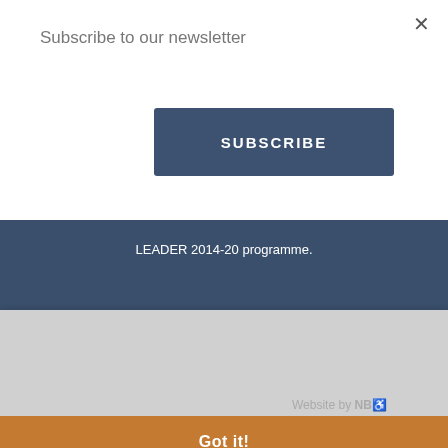Subscribe to our newsletter
SUBSCRIBE
LEADER 2014-20 programme.
Copyright © 2014 - 2022 Orkney.com. All rights reserved.
This website uses cookies to ensure you get the best experience on our website.
Learn more
Website by NB
Got it!
[Figure (logo): Orkney Islands Council logo, HIE Highlands and Islands Enterprise logo, EU Agricultural Fund logo, Leader programme logo]
×